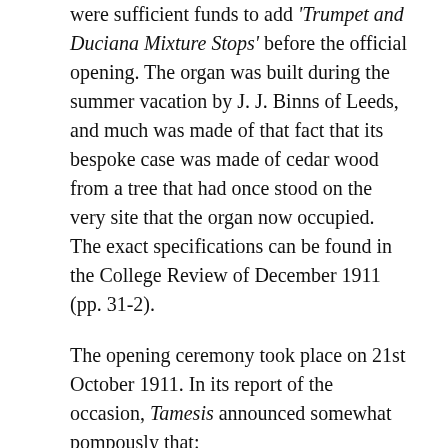were sufficient funds to add 'Trumpet and Duciana Mixture Stops' before the official opening. The organ was built during the summer vacation by J. J. Binns of Leeds, and much was made of that fact that its bespoke case was made of cedar wood from a tree that had once stood on the very site that the organ now occupied. The exact specifications can be found in the College Review of December 1911 (pp. 31-2).
The opening ceremony took place on 21st October 1911. In its report of the occasion, Tamesis announced somewhat pompously that:
'We have the greatest pleasure in being able to chronicle the metamorphosis of the Organ Fund into the College Organ.' (p. 32)
A recital was performed by Dr H. P. Allen, Director of the Music Department, who played a programme of works